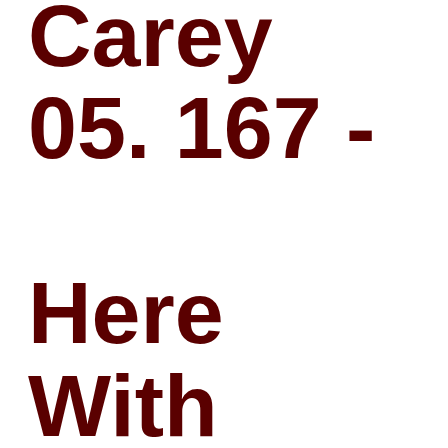Carey 05. 167 - Here With Me - The Killers 06. 165 -